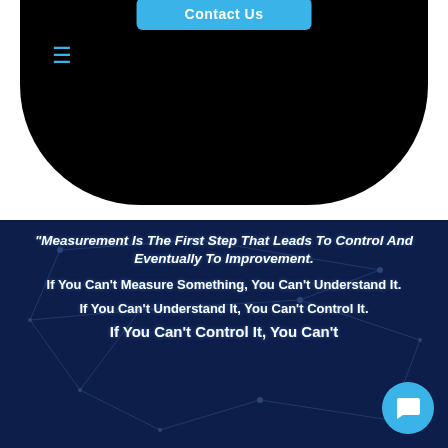[Figure (screenshot): Mobile phone mockup showing a dark rounded screen with a 'Contact Us' button in blue and a hamburger menu icon in blue on the left]
“Measurement Is The First Step That Leads To Control And Eventually To Improvement.
If You Can’t Measure Something, You Can’t Understand It.
If You Can’t Understand It, You Can’t Control It.
If You Can’t Control It, You Can’t